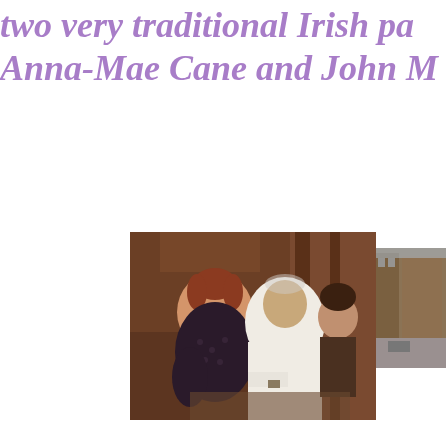two very traditional Irish parents: Anna-Mae Cane and John M
[Figure (photo): Small photo of a city street scene with multi-story buildings]
[Figure (photo): Photo of a woman and man sitting together, woman in dark top with polka dots, man in white shirt, another person visible in background]